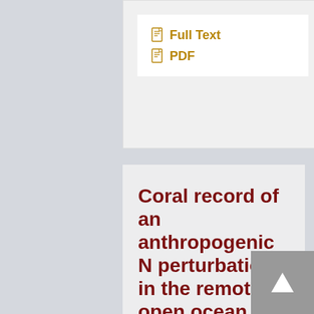Full Text
PDF
Coral record of an anthropogenic N perturbation in the remote open ocean
Like all organisms, marine phytoplankton